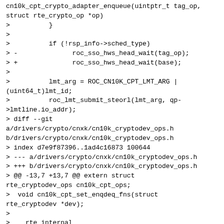cn10k_cpt_crypto_adapter_enqueue(uintptr_t tag_op,
struct rte_crypto_op *op)
>		}
>
>		if (!rsp_info->sched_type)
> -			roc_sso_hws_head_wait(tag_op);
> +			roc_sso_hws_head_wait(base);
>
>		lmt_arg = ROC_CN10K_CPT_LMT_ARG |
(uint64_t)lmt_id;
>		roc_lmt_submit_steorl(lmt_arg, qp-
>lmtline.io_addr);
> diff --git
a/drivers/crypto/cnxk/cn10k_cryptodev_ops.h
b/drivers/crypto/cnxk/cn10k_cryptodev_ops.h
> index d7e9f87396..1ad4c16873 100644
> --- a/drivers/crypto/cnxk/cn10k_cryptodev_ops.h
> +++ b/drivers/crypto/cnxk/cn10k_cryptodev_ops.h
> @@ -13,7 +13,7 @@ extern struct
rte_cryptodev_ops cn10k_cpt_ops;
>  void cn10k_cpt_set_enqdeq_fns(struct
rte_cryptodev *dev);
>
>  __rte_internal
> -uint16_t
cn10k_cpt_crypto_adapter_enqueue(uintptr_t tag_op,
> +uint16_t
cn10k_cpt_crypto_adapter_enqueue(uintptr_t base,
>								struct
rte_crypto_op *op);